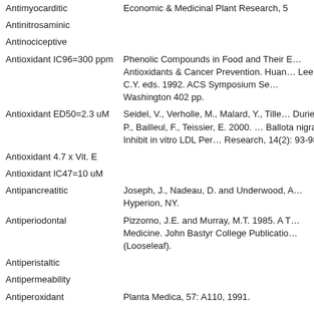| Activity | Reference |
| --- | --- |
| Antimyocarditic | Economic & Medicinal Plant Research, 5 |
| Antinitrosaminic |  |
| Antinociceptive |  |
| Antioxidant IC96=300 ppm | Phenolic Compounds in Food and Their Effects on Health II. Antioxidants & Cancer Prevention. Huang, M.T., Ho, C.T., Lee, C.Y. eds. 1992. ACS Symposium Series 507. ACS, Washington 402 pp. |
| Antioxidant ED50=2.3 uM | Seidel, V., Verholle, M., Malard, Y., Tillequin, F., Fruchart, J.C., Duriez, P., Bailleul, F., Teissier, E. 2000. Phenylpropanoids from Ballota nigra L. Inhibit in vitro LDL Peroxidation. Phytotherapy Research, 14(2): 93-98. |
| Antioxidant 4.7 x Vit. E |  |
| Antioxidant IC47=10 uM |  |
| Antipancreatitic | Joseph, J., Nadeau, D. and Underwood, A. 2001. The Color Code. Hyperion, NY. |
| Antiperiodontal | Pizzorno, J.E. and Murray, M.T. 1985. A Textbook of Natural Medicine. John Bastyr College Publications, Seattle, Washington (Looseleaf). |
| Antiperistaltic |  |
| Antipermeability |  |
| Antiperoxidant | Planta Medica, 57: A110, 1991. |